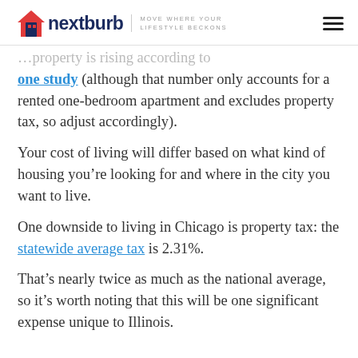nextburb — MOVE WHERE YOUR LIFESTYLE BECKONS
one study (although that number only accounts for a rented one-bedroom apartment and excludes property tax, so adjust accordingly).
Your cost of living will differ based on what kind of housing you're looking for and where in the city you want to live.
One downside to living in Chicago is property tax: the statewide average tax is 2.31%.
That's nearly twice as much as the national average, so it's worth noting that this will be one significant expense unique to Illinois.